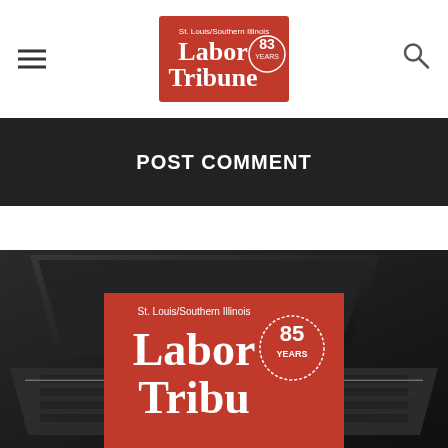Labor Tribune - St. Louis/Southern Illinois - 83 Years
POST COMMENT
[Figure (screenshot): Dark background section showing a laptop keyboard with a Labor Tribune red logo banner at the bottom reading 'St. Louis/Southern Illinois Labor Tribune 85 Years']